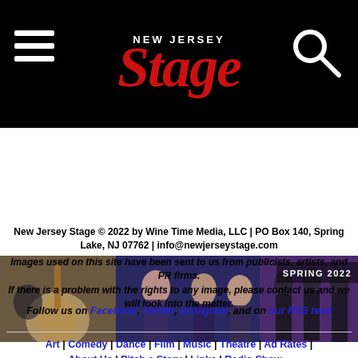NEW JERSEY Stage
[Figure (photo): Banner photo strip showing musicians/performers with SPRING 2022 text overlay]
New Jersey Stage © 2022 by Wine Time Media, LLC | PO Box 140, Spring Lake, NJ 07762 | info@newjerseystage.com
Images used on this site have been sent to us from publicists, artists, and PR firms. If there is a problem with the rights to any image, please contact us and we will look into the matter.
Follow us on Facebook, Twitter, Instagram, and on our RSS feed
Art | Comedy | Dance | Film | Music | Theatre | Ad Rates | About Us | Pitch a Story | Links | Radio Show...